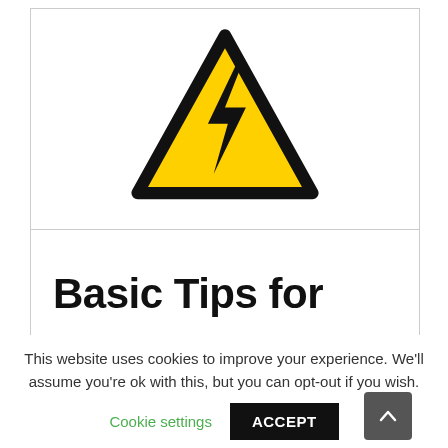[Figure (illustration): Yellow triangular electrical hazard warning sign with black border and black lightning bolt arrow symbol in the center]
Basic Tips for
This website uses cookies to improve your experience. We'll assume you're ok with this, but you can opt-out if you wish.
Cookie settings    ACCEPT